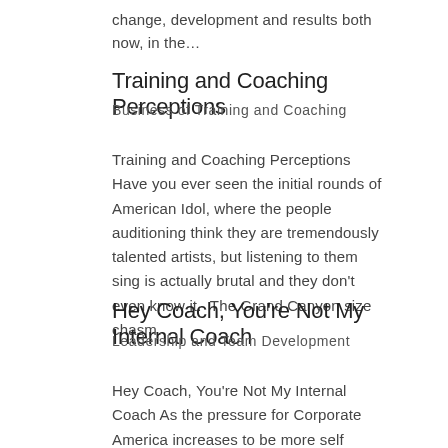change, development and results both now, in the…
Training and Coaching Perceptions
Business of Training and Coaching
Training and Coaching Perceptions Have you ever seen the initial rounds of American Idol, where the people auditioning think they are tremendously talented artists, but listening to them sing is actually brutal and they don't even know it.  The Grand Canyon size chasm…
Hey Coach, You're Not My Internal Coach
Leadership and Team Development
Hey Coach, You're Not My Internal Coach As the pressure for Corporate America increases to be more self reliant on the issue of leadership development,